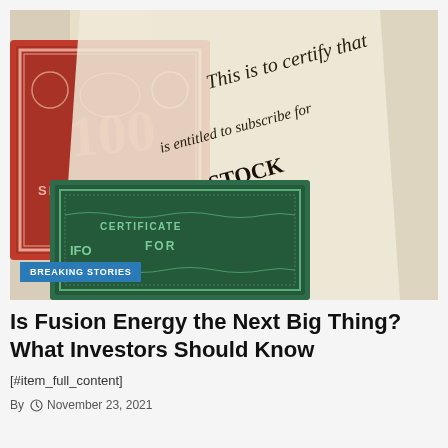[Figure (photo): Close-up photograph of vintage stock certificates. A red certificate with '100 SHARES' printed on it is visible on the left, alongside a green certificate reading 'CERTIFICATE FOR'. Overlapping paper documents with cursive handwriting reading 'This is to certify that', 'is entitled to subscribe', 'STOCK', 'of the Board', 'Directors' are visible on top.]
BREAKING STORIES
Is Fusion Energy the Next Big Thing? What Investors Should Know
[#item_full_content]
By   November 23, 2021